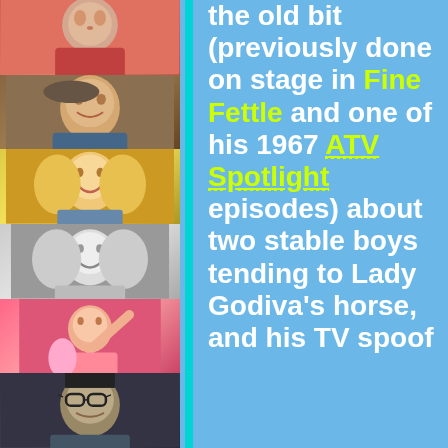[Figure (photo): Column of six celebrity/performer photos on the left side of the page]
the old bit (previously done on stage in Fine Fettle and one of his 1967 ATV Spotlight episodes) about two stable boys tending to Lady Godiva's horse, and his TV spoof